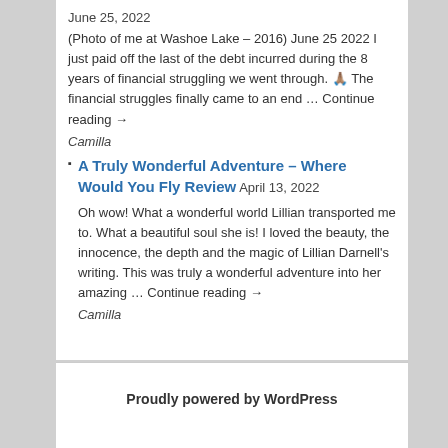June 25, 2022
(Photo of me at Washoe Lake – 2016) June 25 2022 I just paid off the last of the debt incurred during the 8 years of financial struggling we went through. 🙏🏽 The financial struggles finally came to an end … Continue reading →
Camilla
A Truly Wonderful Adventure – Where Would You Fly Review April 13, 2022
Oh wow! What a wonderful world Lillian transported me to. What a beautiful soul she is! I loved the beauty, the innocence, the depth and the magic of Lillian Darnell's writing. This was truly a wonderful adventure into her amazing … Continue reading →
Camilla
Proudly powered by WordPress